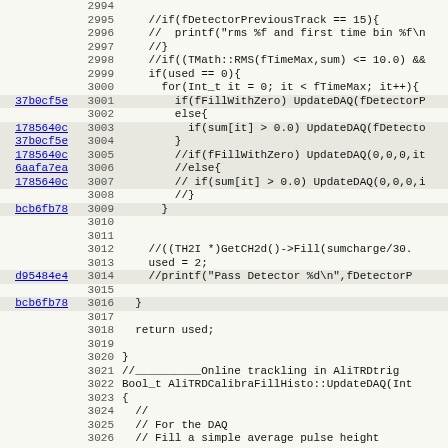[Figure (screenshot): Source code viewer showing lines 2994-3026 of a C++ file (AliTRDCalibraFillHisto) with blame annotations (commit hashes) in left column, line numbers in middle column, and code content on right. Some lines have highlighted backgrounds. Code contains commented-out conditional blocks, UpdateDAQ calls, and function definitions.]